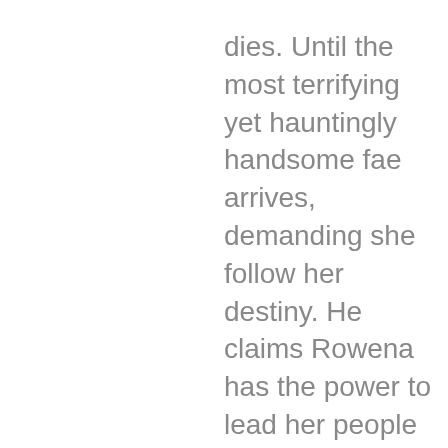dies. Until the most terrifying yet hauntingly handsome fae arrives, demanding she follow her destiny. He claims Rowena has the power to lead her people or destroy them.

Discover action like Throne of Glass, with a twisted fairytale like Maleficent in this epic fantasy adventure.